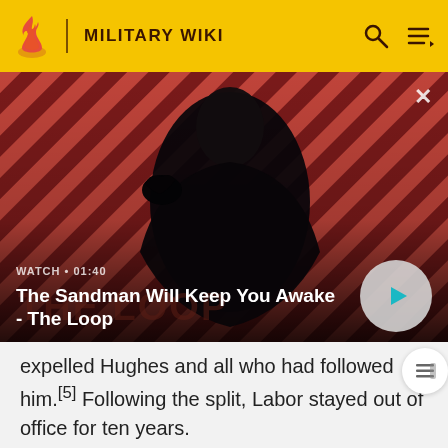MILITARY WIKI
[Figure (screenshot): Video banner for 'The Sandman Will Keep You Awake - The Loop', showing a dark-robed figure with a raven on a red diagonal-striped background, with play button and WATCH • 01:40 timestamp]
expelled Hughes and all who had followed him.[5] Following the split, Labor stayed out of office for ten years.
[Figure (photo): Partial bottom image showing a decorative gold-framed card with text 'God bless dear Daddy']